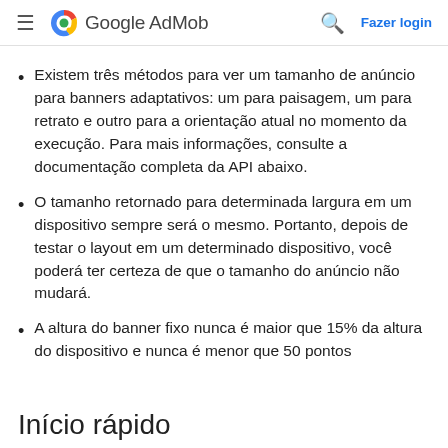Google AdMob
Existem três métodos para ver um tamanho de anúncio para banners adaptativos: um para paisagem, um para retrato e outro para a orientação atual no momento da execução. Para mais informações, consulte a documentação completa da API abaixo.
O tamanho retornado para determinada largura em um dispositivo sempre será o mesmo. Portanto, depois de testar o layout em um determinado dispositivo, você poderá ter certeza de que o tamanho do anúncio não mudará.
A altura do banner fixo nunca é maior que 15% da altura do dispositivo e nunca é menor que 50 pontos
Início rápido